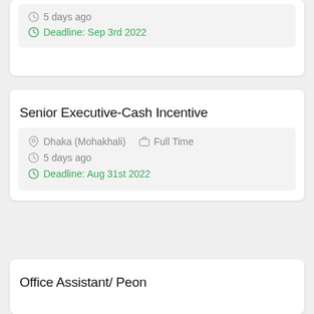5 days ago
Deadline: Sep 3rd 2022
Senior Executive-Cash Incentive
Dhaka (Mohakhali)   Full Time
5 days ago
Deadline: Aug 31st 2022
Office Assistant/ Peon